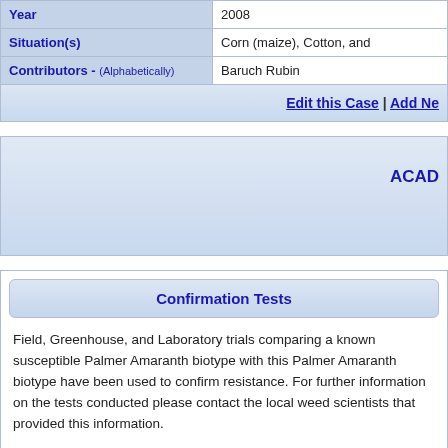| Field | Value |
| --- | --- |
| Year | 2008 |
| Situation(s) | Corn (maize), Cotton, and |
| Contributors - (Alphabetically) | Baruch Rubin |
Edit this Case | Add Ne
ACAD
Confirmation Tests
Field, Greenhouse, and Laboratory trials comparing a known susceptible Palmer Amaranth biotype with this Palmer Amaranth biotype have been used to confirm resistance. For further information on the tests conducted please contact the local weed scientists that provided this information.
Mechanism of Resistance
Studies on the mechanism of resistance...